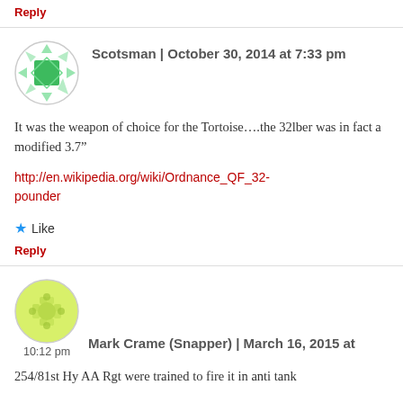Reply
Scotsman | October 30, 2014 at 7:33 pm
It was the weapon of choice for the Tortoise….the 32lber was in fact a modified 3.7”
http://en.wikipedia.org/wiki/Ordnance_QF_32-pounder
★ Like
Reply
Mark Crame (Snapper) | March 16, 2015 at 10:12 pm
254/81st Hy AA Rgt were trained to fire it in anti tank